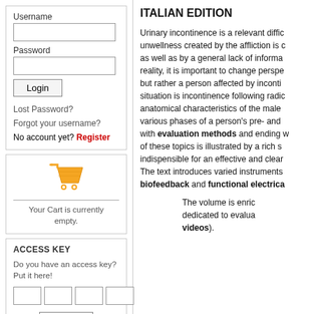Username
Password
Login
Lost Password?
Forgot your username?
No account yet? Register
[Figure (illustration): Shopping cart icon in orange/yellow]
Your Cart is currently empty.
ACCESS KEY
Do you have an access key? Put it here!
Send
ITALIAN EDITION
Urinary incontinence is a relevant diffic... unwellness created by the affliction is c... as well as by a general lack of informa... reality, it is important to change perspe... but rather a person affected by inconti... situation is incontinence following radic... anatomical characteristics of the male ... various phases of a person's pre- and ... with evaluation methods and ending w... of these topics is illustrated by a rich s... indispensible for an effective and clear... The text introduces varied instruments ... biofeedback and functional electrica...
The volume is enric... dedicated to evalua... videos).